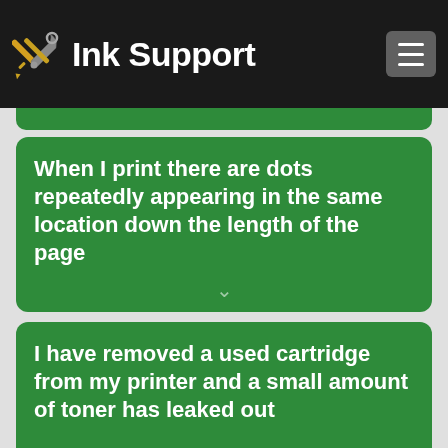Ink Support
When I print there are dots repeatedly appearing in the same location down the length of the page
I have removed a used cartridge from my printer and a small amount of toner has leaked out